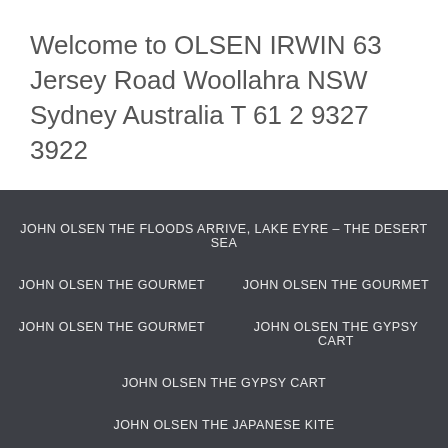Welcome to OLSEN IRWIN 63 Jersey Road Woollahra NSW Sydney Australia T 61 2 9327 3922
JOHN OLSEN THE FLOODS ARRIVE, LAKE EYRE – THE DESERT SEA
JOHN OLSEN THE GOURMET
JOHN OLSEN THE GOURMET
JOHN OLSEN THE GOURMET
JOHN OLSEN THE GYPSY CART
JOHN OLSEN THE GYPSY CART
JOHN OLSEN THE JAPANESE KITE
JOHN OLSEN THE LITTLE RIVER
JOHN OLSEN THE LITTLE RIVER